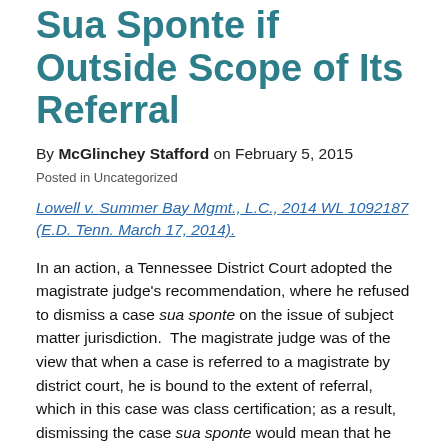Sua Sponte if Outside Scope of Its Referral
By McGlinchey Stafford on February 5, 2015
Posted in Uncategorized
Lowell v. Summer Bay Mgmt., L.C., 2014 WL 1092187 (E.D. Tenn. March 17, 2014).
In an action, a Tennessee District Court adopted the magistrate judge's recommendation, where he refused to dismiss a case sua sponte on the issue of subject matter jurisdiction.  The magistrate judge was of the view that when a case is referred to a magistrate by district court, he is bound to the extent of referral, which in this case was class certification; as a result, dismissing the case sua sponte would mean that he would be exceeding his jurisdiction....